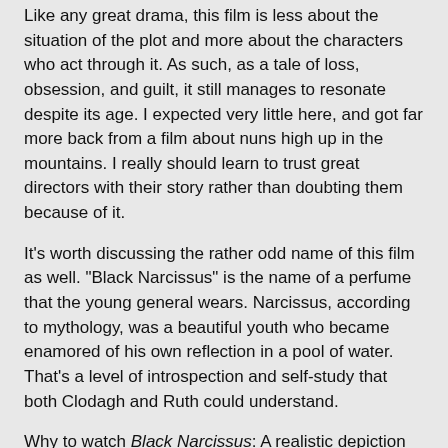Like any great drama, this film is less about the situation of the plot and more about the characters who act through it. As such, as a tale of loss, obsession, and guilt, it still manages to resonate despite its age. I expected very little here, and got far more back from a film about nuns high up in the mountains. I really should learn to trust great directors with their story rather than doubting them because of it.
It's worth discussing the rather odd name of this film as well. "Black Narcissus" is the name of a perfume that the young general wears. Narcissus, according to mythology, was a beautiful youth who became enamored of his own reflection in a pool of water. That's a level of introspection and self-study that both Clodagh and Ruth could understand.
Why to watch Black Narcissus: A realistic depiction of madness, passion and isolation.
Why not to watch: Well, it is set in a convent.
SJHoneywell at 11:50 PM   4 comments: